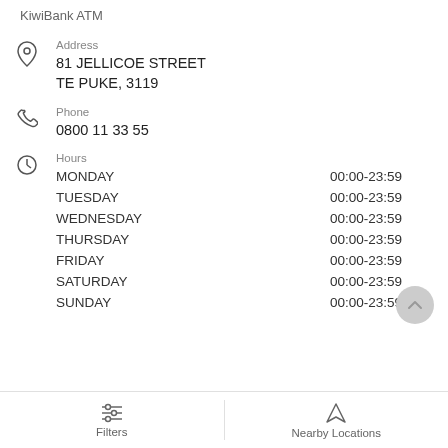KiwiBank ATM
Address
81 JELLICOE STREET
TE PUKE, 3119
Phone
0800 11 33 55
Hours
MONDAY 00:00-23:59
TUESDAY 00:00-23:59
WEDNESDAY 00:00-23:59
THURSDAY 00:00-23:59
FRIDAY 00:00-23:59
SATURDAY 00:00-23:59
SUNDAY 00:00-23:59
Filters | Nearby Locations